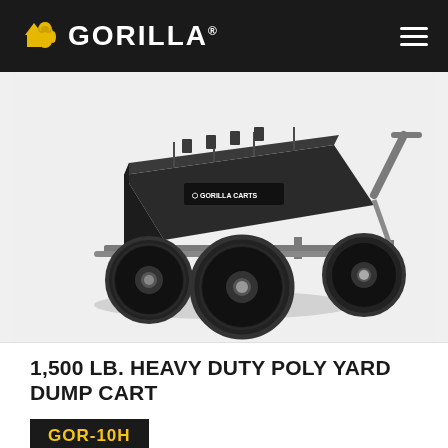GORILLA
[Figure (photo): Gorilla Carts 1,500 lb. Heavy Duty Poly Yard Dump Cart (GOR-10H) - black poly dump cart with four large pneumatic tires and a steel frame, shown at an angle, tilted back slightly to display the dump mechanism.]
1,500 LB. HEAVY DUTY POLY YARD DUMP CART
GOR-10H